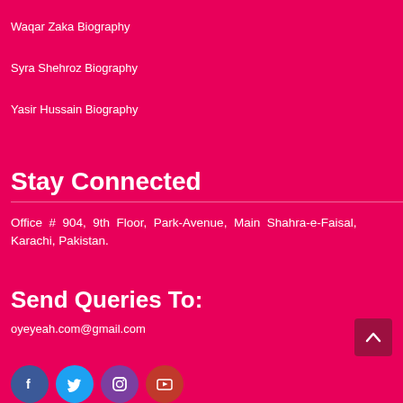Waqar Zaka Biography
Syra Shehroz Biography
Yasir Hussain Biography
Stay Connected
Office # 904, 9th Floor, Park-Avenue, Main Shahra-e-Faisal, Karachi, Pakistan.
Send Queries To:
oyeyeah.com@gmail.com